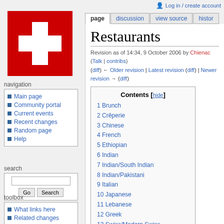Log in / create account
[Figure (illustration): Swiss flag — red square with white cross]
navigation
Main page
Community portal
Current events
Recent changes
Random page
Help
search
toolbox
What links here
Related changes
Special pages
Restaurants
Revision as of 14:34, 9 October 2006 by Chienac (Talk | contribs)
(diff) ← Older revision | Latest revision (diff) | Newer revision → (diff)
| Contents [hide] |
| --- |
| 1 Brunch |
| 2 Crêperie |
| 3 Chinese |
| 4 French |
| 5 Ethiopian |
| 6 Indian |
| 7 Indian/South Indian |
| 8 Indian/Pakistani |
| 9 Italian |
| 10 Japanese |
| 11 Lebanese |
| 12 Greek |
| 13 Swiss/Modern Swiss |
| 14 Swiss Fondue/Raclette |